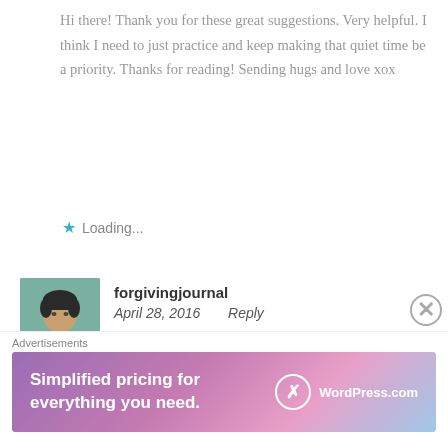Hi there! Thank you for these great suggestions. Very helpful. I think I need to just practice and keep making that quiet time be a priority. Thanks for reading! Sending hugs and love xox
Loading...
[Figure (photo): Avatar photo of forgivingjournal user, a woman with short dark hair]
forgivingjournal
April 28, 2016   Reply
I love this! Sending you so much Light and love, and big hugs. What came present for me (and maybe this is because it's what I need to hear) is that when God closes
Advertisements
[Figure (screenshot): WordPress.com advertisement banner: Simplified pricing for everything you need.]